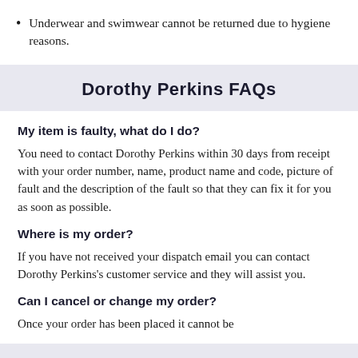Underwear and swimwear cannot be returned due to hygiene reasons.
Dorothy Perkins FAQs
My item is faulty, what do I do?
You need to contact Dorothy Perkins within 30 days from receipt with your order number, name, product name and code, picture of fault and the description of the fault so that they can fix it for you as soon as possible.
Where is my order?
If you have not received your dispatch email you can contact Dorothy Perkins's customer service and they will assist you.
Can I cancel or change my order?
Once your order has been placed it cannot be